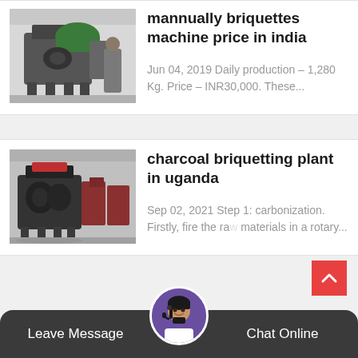[Figure (photo): Industrial briquette machine/shredder, gray and black, in a factory setting]
mannually briquettes machine price in india
Jun 04, 2019 Daily production – 1,280 Kg. Price – INR30,000. These...
[Figure (photo): Charcoal briquetting machine, black and red, in a factory with similar machines in background]
charcoal briquetting plant in uganda
Sep 02, 2021 Step 1: carbonization. Firstly, fire the ra  aterials in a rotary...
Leave Message   Chat Online